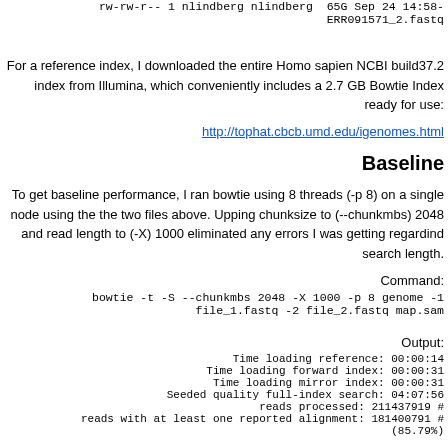rw-rw-r-- 1 nlindberg nlindberg  65G Sep 24 14:58- ERR091571_2.fastq
For a reference index, I downloaded the entire Homo sapien NCBI build37.2 index from Illumina, which conveniently includes a 2.7 GB Bowtie Index ready for use:
http://tophat.cbcb.umd.edu/igenomes.html
Baseline
To get baseline performance, I ran bowtie using 8 threads (-p 8) on a single node using the the two files above. Upping chunksize to (--chunkmbs) 2048 and read length to (-X) 1000 eliminated any errors I was getting regardind search length.
Command:
bowtie -t -S --chunkmbs 2048 -X 1000 -p 8 genome -1 file_1.fastq -2 file_2.fastq map.sam
Output:
Time loading reference: 00:00:14
Time loading forward index: 00:00:31
Time loading mirror index: 00:00:31
Seeded quality full-index search: 04:07:56
# reads processed: 211437919
# reads with at least one reported alignment: 181400791
(85.79%)